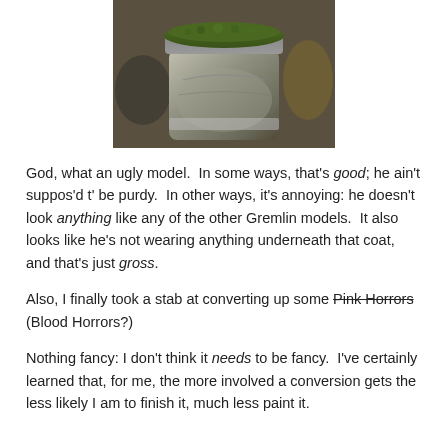[Figure (photo): Close-up photo of a miniature model figure with mossy green top and metallic/dark textured body, with blurred background]
God, what an ugly model.  In some ways, that's good; he ain't suppos'd t' be purdy.  In other ways, it's annoying: he doesn't look anything like any of the other Gremlin models.  It also looks like he's not wearing anything underneath that coat, and that's just gross.
Also, I finally took a stab at converting up some Pink Horrors (Blood Horrors?)
Nothing fancy: I don't think it needs to be fancy.  I've certainly learned that, for me, the more involved a conversion gets the less likely I am to finish it, much less paint it.